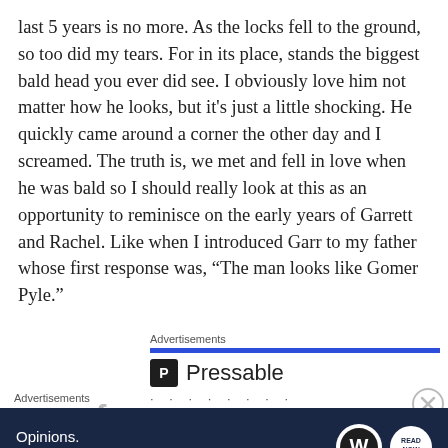last 5 years is no more. As the locks fell to the ground, so too did my tears. For in its place, stands the biggest bald head you ever did see. I obviously love him not matter how he looks, but it's just a little shocking. He quickly came around a corner the other day and I screamed. The truth is, we met and fell in love when he was bald so I should really look at this as an opportunity to reminisce on the early years of Garrett and Rachel. Like when I introduced Garr to my father whose first response was, “The man looks like Gomer Pyle.”
Advertisements
[Figure (logo): Pressable logo and name with blue bar above, followed by dots]
[Figure (screenshot): Partial text of a headline cut off at bottom]
Advertisements
[Figure (infographic): Dark navy advertisement banner: 'Opinions. We all have them!' with WordPress and Read Now logos]